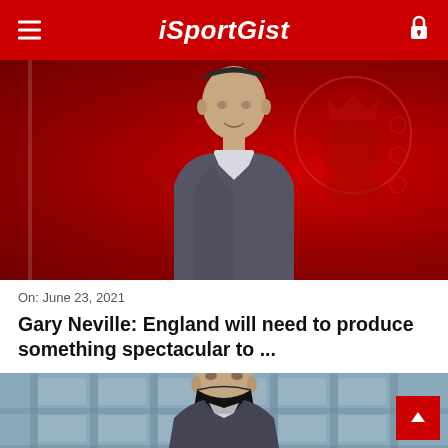iSportGist
[Figure (photo): Photo of Gary Neville in a grey suit and dark tie, standing in front of a red background with the England Three Lions badge/crest watermark]
On: June 23, 2021
Gary Neville: England will need to produce something spectacular to ...
[Figure (photo): Photo of a bald man wearing a black face mask, standing in front of glass/window architecture with a grey-blue background]